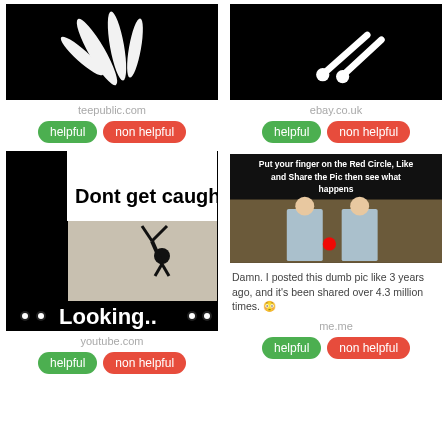[Figure (photo): Black background with white hand/feather graphic - teepublic.com product]
teepublic.com
[Figure (photo): Black background with white utensil/pin graphic - ebay.co.uk product]
ebay.co.uk
[Figure (photo): Meme: black panels with 'Dont get caught' text, person doing handstand, 'Looking..' text with eyes emoji]
youtube.com
[Figure (photo): Meme: 'Put your finger on the Red Circle, Like and Share the Pic then see what happens' with The Shining twins photo and red circle. Below: 'Damn. I posted this dumb pic like 3 years ago, and it\'s been shared over 4.3 million times. 😳']
me.me